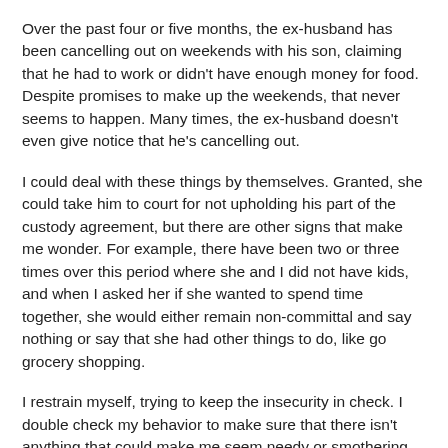Over the past four or five months, the ex-husband has been cancelling out on weekends with his son, claiming that he had to work or didn't have enough money for food. Despite promises to make up the weekends, that never seems to happen. Many times, the ex-husband doesn't even give notice that he's cancelling out.
I could deal with these things by themselves. Granted, she could take him to court for not upholding his part of the custody agreement, but there are other signs that make me wonder. For example, there have been two or three times over this period where she and I did not have kids, and when I asked her if she wanted to spend time together, she would either remain non-committal and say nothing or say that she had other things to do, like go grocery shopping.
I restrain myself, trying to keep the insecurity in check. I double check my behavior to make sure that there isn't anything that could make me seem needy or smothering.
One of the evenings when we had dinner, I told her that I missed our "us" time. She said she did too, but she said that